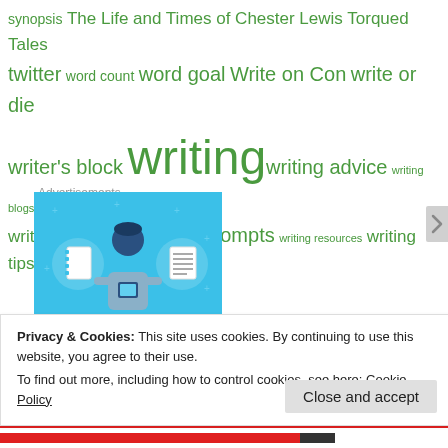synopsis The Life and Times of Chester Lewis Torqued Tales twitter word count word goal Write on Con write or die writer's block writing writing advice writing blogs writing challenge writing prompts writing resources writing tips
Advertisements
[Figure (illustration): Day One app advertisement banner with light blue background showing an illustrated person holding a phone, flanked by a notebook and a lined notepad in circular frames, with 'DAY ONE' text at the bottom.]
Privacy & Cookies: This site uses cookies. By continuing to use this website, you agree to their use.
To find out more, including how to control cookies, see here: Cookie Policy
Close and accept